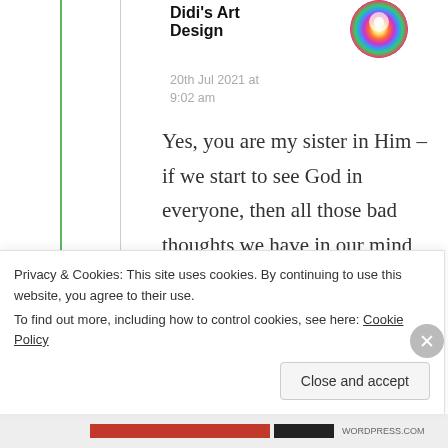[Figure (illustration): Circular rainbow/colorful avatar image for Didi's Art Design]
Didi's Art Design
20th Jul 2021 at 9:02 am
Yes, you are my sister in Him – if we start to see God in everyone, then all those bad thoughts we have in our mind will vanish – respect and
Privacy & Cookies: This site uses cookies. By continuing to use this website, you agree to their use.
To find out more, including how to control cookies, see here: Cookie Policy
Close and accept